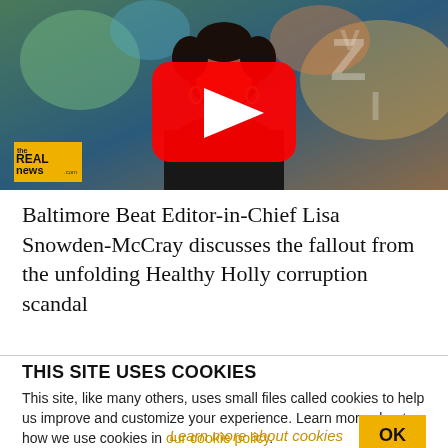[Figure (screenshot): Video thumbnail from The Real News showing a woman with natural hair against a colorful background, with a YouTube play button overlay and The Real News logo in the bottom left]
Baltimore Beat Editor-in-Chief Lisa Snowden-McCray discusses the fallout from the unfolding Healthy Holly corruption scandal
THIS SITE USES COOKIES
This site, like many others, uses small files called cookies to help us improve and customize your experience. Learn more about how we use cookies in our cookie policy.
Learn more about cookies  OK